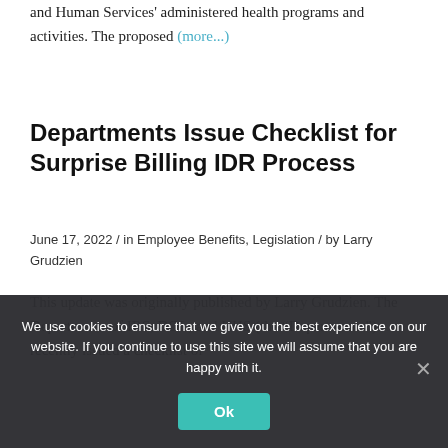and Human Services' administered health programs and activities. The proposed (more...)
Departments Issue Checklist for Surprise Billing IDR Process
June 17, 2022 / in Employee Benefits, Legislation / by Larry Grudzien
This update was originally published by Larry Grudzien. The Departments of IRS, DOL, and HHS (the “Departments”) recently issued a checklist of
We use cookies to ensure that we give you the best experience on our website. If you continue to use this site we will assume that you are happy with it.